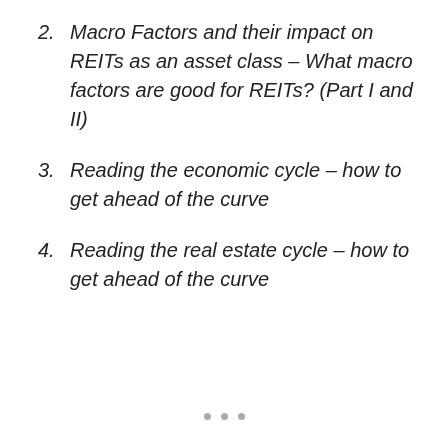2. Macro Factors and their impact on REITs as an asset class – What macro factors are good for REITs? (Part I and II)
3. Reading the economic cycle – how to get ahead of the curve
4. Reading the real estate cycle – how to get ahead of the curve